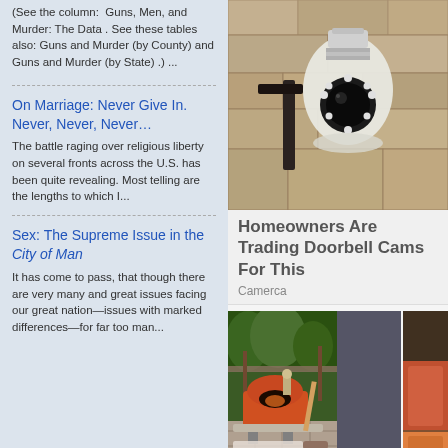(See the column:  Guns, Men, and Murder: The Data . See these tables also: Guns and Murder (by County) and Guns and Murder (by State) .) ...
On Marriage: Never Give In. Never, Never, Never…
The battle raging over religious liberty on several fronts across the U.S. has been quite revealing. Most telling are the lengths to which I...
Sex: The Supreme Issue in the City of Man
It has come to pass, that though there are very many and great issues facing our great nation—issues with marked differences—for far too man...
[Figure (photo): Photo of a light bulb-style security camera mounted on a wall]
Homeowners Are Trading Doorbell Cams For This
Camerca
[Figure (photo): Photo of an outdoor pizza oven setup on a patio]
Setting Up Your
O